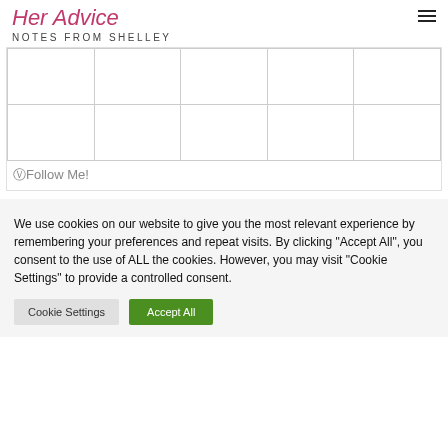Her Advice
NOTES FROM SHELLEY
[Figure (other): Instagram photo grid with 2 rows and 5 columns of empty image cells]
@Follow Me!
We use cookies on our website to give you the most relevant experience by remembering your preferences and repeat visits. By clicking "Accept All", you consent to the use of ALL the cookies. However, you may visit "Cookie Settings" to provide a controlled consent.
Cookie Settings  Accept All